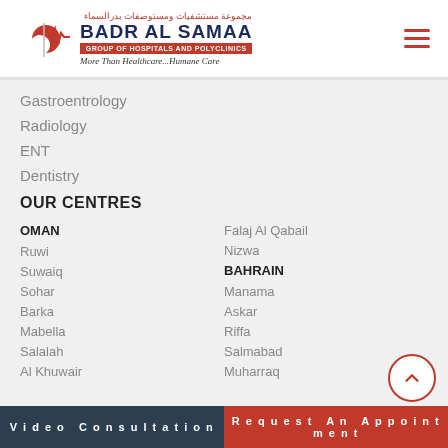[Figure (logo): Badr Al Samaa Group of Hospitals and Polyclinics logo with red crescent and heartbeat line icon, Arabic text above, tagline More Than Healthcare...Humane Care]
Gastroentrology
Radiology
ENT
Dentistry
OUR CENTRES
OMAN
Ruwi
Suwaiq
Sohar
Barka
Mabella
Salalah
Al Khuwair
Falaj Al Qabail
Nizwa
BAHRAIN
Manama
Askar
Riffa
Salmabad
Muharraq
Video Consultation | Request An Appointment